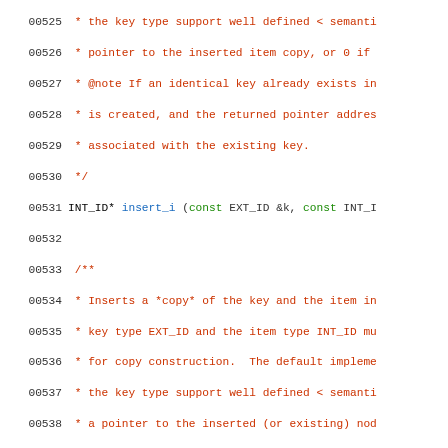Source code listing lines 00525-00554 showing C++ documentation comments and method signatures for insert_i and remove_i methods of a Red-Black tree implementation.